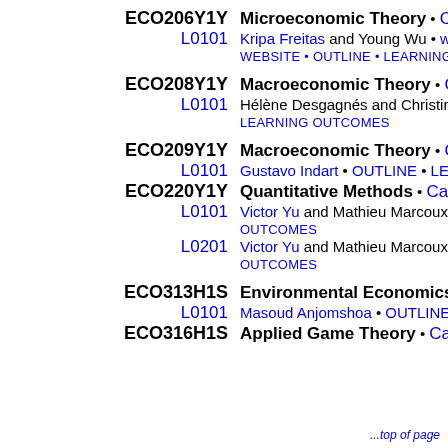ECO206Y1Y — Microeconomic Theory • Calendar • L0101: Kripa Freitas and Young Wu • WEBSITE • OUTLINE • LEARNING OUTCOMES
ECO208Y1Y — Macroeconomic Theory • Calendar • L0101: Hélène Desgagnés and Christine • LEARNING OUTCOMES
ECO209Y1Y — Macroeconomic Theory • Calendar • L0101: Gustavo Indart • OUTLINE • LEARNING OUTCOMES
ECO220Y1Y — Quantitative Methods • Calendar • L0101: Victor Yu and Mathieu Marcoux • OUTCOMES
ECO220Y1Y L0201: Victor Yu and Mathieu Marcoux • OUTCOMES
ECO313H1S — Environmental Economics and • L0101: Masoud Anjomshoa • OUTLINE • L
ECO316H1S — Applied Game Theory • Calendar